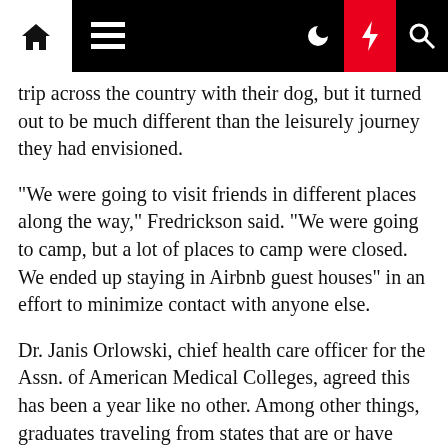[Navigation bar with home, menu, dark mode, lightning, search icons]
trip across the country with their dog, but it turned out to be much different than the leisurely journey they had envisioned.
“We were going to visit friends in different places along the way,” Fredrickson said. “We were going to camp, but a lot of places to camp were closed. We ended up staying in Airbnb guest houses” in an effort to minimize contact with anyone else.
Dr. Janis Orlowski, chief health care officer for the Assn. of American Medical Colleges, agreed this has been a year like no other. Among other things, graduates traveling from states that are or have been hot spots are being asked to quarantine for 14 days upon arrival. That has required more flexibility than usual from residency administrators used to starting programs at an exact time.